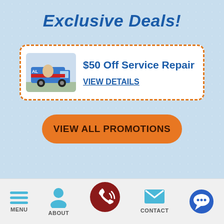Exclusive Deals!
[Figure (illustration): Coupon card with dashed orange border containing a service truck image and text '$50 Off Service Repair' with a 'VIEW DETAILS' link]
$50 Off Service Repair
VIEW DETAILS
VIEW ALL PROMOTIONS
MENU | ABOUT | (phone icon) | CONTACT | (chat icon)